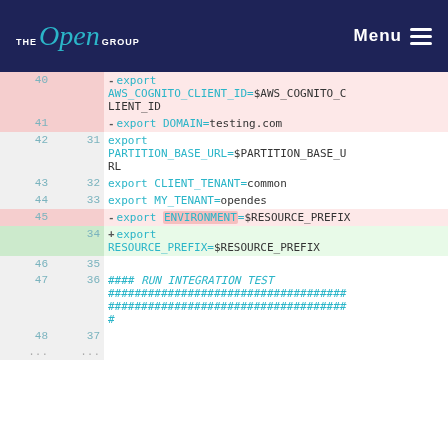THE Open GROUP  Menu
[Figure (screenshot): Code diff showing shell script lines 40-48 (old) and 31-37 (new). Deleted lines highlighted in pink, added lines in green. Shows export statements for AWS_COGNITO_CLIENT_ID, DOMAIN, PARTITION_BASE_URL, CLIENT_TENANT, MY_TENANT, ENVIRONMENT/$RESOURCE_PREFIX (deleted), RESOURCE_PREFIX=$RESOURCE_PREFIX (added), and RUN INTEGRATION TEST comment block.]